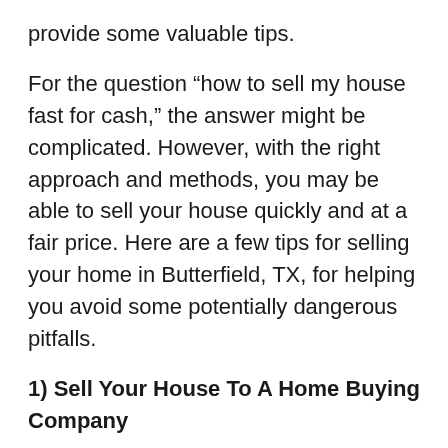provide some valuable tips.
For the question “how to sell my house fast for cash,” the answer might be complicated. However, with the right approach and methods, you may be able to sell your house quickly and at a fair price. Here are a few tips for selling your home in Butterfield, TX, for helping you avoid some potentially dangerous pitfalls.
1) Sell Your House To A Home Buying Company
There are numerous reasons why you should sell your home to a house buying company in Butterfield, TX. Homeowners cannot sell their ugly houses quickly because they do not understand how real estate agents work. Property buying